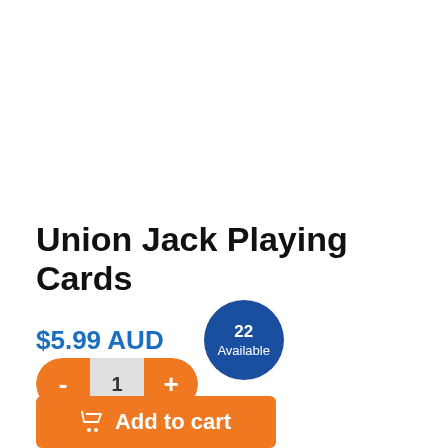Union Jack Playing Cards
$5.99 AUD
22 Available
- 1 +
Add to cart